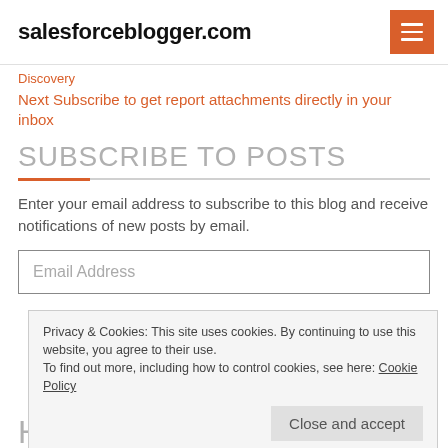salesforceblogger.com
Discovery
Next Subscribe to get report attachments directly in your inbox
SUBSCRIBE TO POSTS
Enter your email address to subscribe to this blog and receive notifications of new posts by email.
Email Address
Privacy & Cookies: This site uses cookies. By continuing to use this website, you agree to their use.
To find out more, including how to control cookies, see here: Cookie Policy
Close and accept
HELP